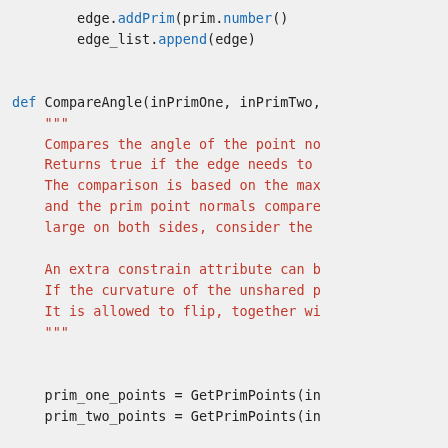[Figure (screenshot): Python source code snippet showing a function definition CompareAngle with docstring and variable assignments. Code uses monospace font with syntax highlighting: blue for keywords and built-in methods, red for docstring text, dark for normal code.]